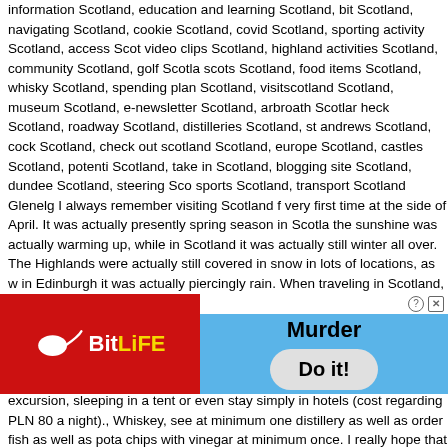information Scotland, education and learning Scotland, bit Scotland, navigating Scotland, cookie Scotland, covid Scotland, sporting activity Scotland, access Scotland, video clips Scotland, highland activities Scotland, community Scotland, golf Scotland, scots Scotland, food items Scotland, whisky Scotland, spending plan Scotland, visitscotland Scotland, museum Scotland, e-newsletter Scotland, arbroath Scotland, heck Scotland, roadway Scotland, distilleries Scotland, st andrews Scotland, cocktail Scotland, check out scotland Scotland, europe Scotland, castles Scotland, potential Scotland, take in Scotland, blogging site Scotland, dundee Scotland, steering Scotland, sports Scotland, transport Scotland Glenelg I always remember visiting Scotland for the very first time at the side of April. It was actually presently spring season in Scotland the sunshine was actually warming up, while in Scotland it was actually still winter all over. The Highlands were actually still covered in snow in lots of locations, as well in Edinburgh it was actually piercingly rain. When traveling in Scotland, initially of all excellent, water-proof, sporting activities footwear. Will definitely likewise happen if helpful, occasionally it is additionally worth adding a slim scarf, a sporting activities and sports handwear covers to the backpack (spring season and fall). In winter months I propose staying clear of Scotland from a distance. In the instance of a low-budget excursion, sleeping in a tent or even stay simply in hotels (cost regarding PLN 80 a night)., Whiskey, see at minimum one distillery as well as order fish as well as potato chips with vinegar at minimum once. I really hope that along with this post I promoted my buddies (:-RRB-) however additionally complete strangers to take a trip to Scotland. It's truly worth a hundred opportunities! I welcome you to visit, so I am still right here. Lovely Scottish beach fronts. Loch Lomond Backpack. Iona- small island, white coastlines. Isle of Skye. Glencoe. Eilean Donan Castle. Island of Arran. Scotland is certainly a truly attractive country, as well as every year it is through crowds of travelers coming from the United States, France, as well as even Italy or Spain. And actually going as part of Great Britain is certainly spring season in Scotland, summer months as well as other months as
[Figure (screenshot): Close X button overlay on text]
[Figure (screenshot): BitLife advertisement banner (red background with sperm logo and BitLife yellow/white text)]
[Figure (screenshot): Murder mobile game advertisement (blue background with 'Murder' title and 'Do it!' button)]